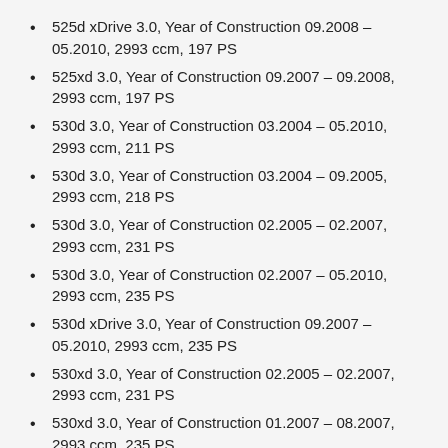525d xDrive 3.0, Year of Construction 09.2008 – 05.2010, 2993 ccm, 197 PS
525xd 3.0, Year of Construction 09.2007 – 09.2008, 2993 ccm, 197 PS
530d 3.0, Year of Construction 03.2004 – 05.2010, 2993 ccm, 211 PS
530d 3.0, Year of Construction 03.2004 – 09.2005, 2993 ccm, 218 PS
530d 3.0, Year of Construction 02.2005 – 02.2007, 2993 ccm, 231 PS
530d 3.0, Year of Construction 02.2007 – 05.2010, 2993 ccm, 235 PS
530d xDrive 3.0, Year of Construction 09.2007 – 05.2010, 2993 ccm, 235 PS
530xd 3.0, Year of Construction 02.2005 – 02.2007, 2993 ccm, 231 PS
530xd 3.0, Year of Construction 01.2007 – 08.2007, 2993 ccm, 235 PS